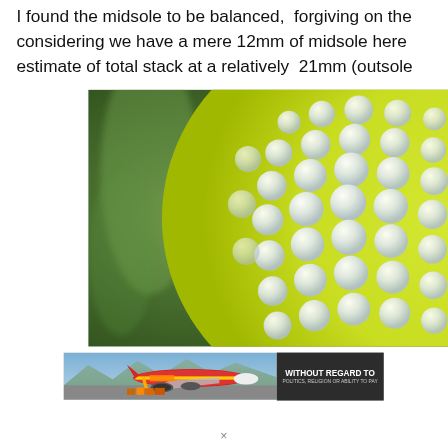I found the midsole to be balanced, forgiving on the considering we have a mere 12mm of midsole here estimate of total stack at a relatively 21mm (outsole
[Figure (photo): Close-up macro photograph of a yellow-green shoe sole with white circular nubbed texture (resembling a golf ball surface), against a blurred green background.]
[Figure (photo): Advertisement banner showing an airplane being loaded with cargo on tarmac, with overlay text reading 'WITHOUT REGARD TO POLITICS, RELIGION OR ABILITY TO PAY']